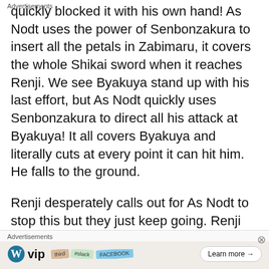quickly blocked it with his own hand! As Nodt uses the power of Senbonzakura to insert all the petals in Zabimaru, it covers the whole Shikai sword when it reaches Renji. We see Byakuya stand up with his last effort, but As Nodt quickly uses Senbonzakura to direct all his attack at Byakuya! It all covers Byakuya and literally cuts at every point it can hit him. He falls to the ground.
Renji desperately calls out for As Nodt to stop this but they just keep going. Renji shouts to his fullest for As Nodt to STOP!! then goes to shout Bankai, when he's struck by one of the Stern Ritter members. Renji is k
Advertisements